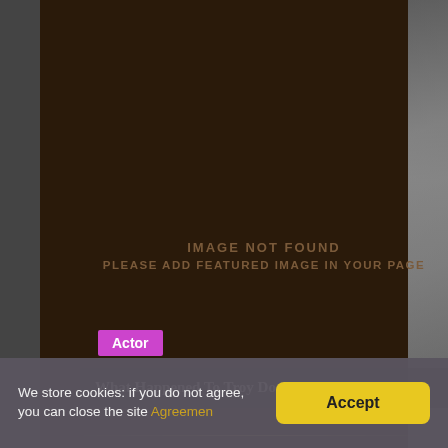[Figure (other): Image not found placeholder with dark brown background. Shows text: IMAGE NOT FOUND / PLEASE ADD FEATURED IMAGE IN YOUR PAGE]
Actor
What Happened To Troy Donahue Actor?
We store cookies: if you do not agree, you can close the site Agreemen
Accept